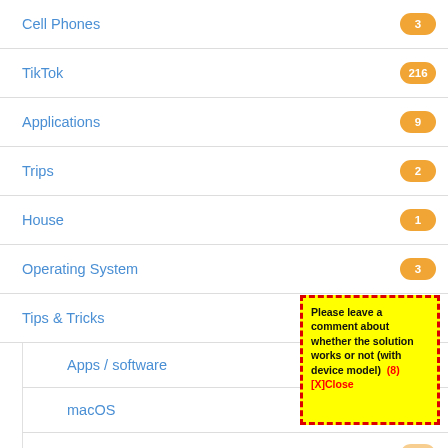Cell Phones 3
TikTok 216
Applications 9
Trips 2
House 1
Operating System 3
Tips & Tricks 892
Apps / software 226
macOS 35
Hardware 49
[Figure (screenshot): Yellow popup box with red dashed border containing bold text: 'Please leave a comment about whether the solution works or not (with device model)' followed by red bold text '(8) [X]Close']